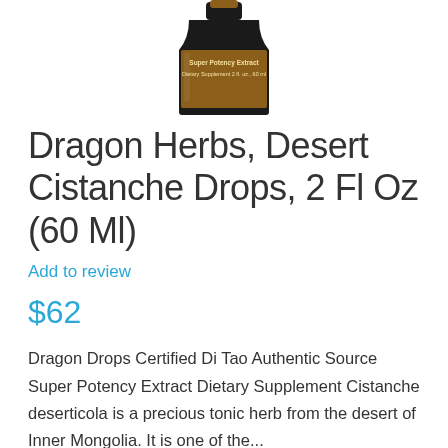[Figure (photo): Product bottle of Dragon Herbs Desert Cistanche Drops, dark amber glass bottle with gold label, partially visible, showing Super Potency Extract, Dietary Supplement, 2 fl. oz., 60 ml]
Dragon Herbs, Desert Cistanche Drops, 2 Fl Oz (60 Ml)
Add to review
$62
Dragon Drops Certified Di Tao Authentic Source Super Potency Extract Dietary Supplement Cistanche deserticola is a precious tonic herb from the desert of Inner Mongolia. It is one of the...
Disclaimer